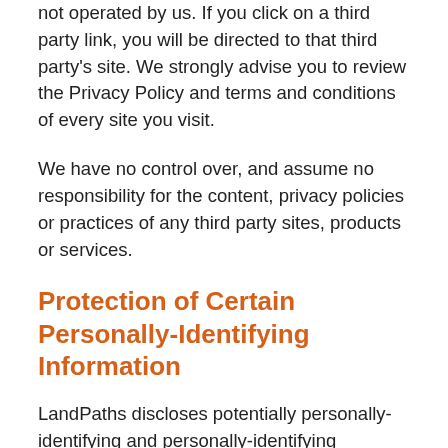not operated by us. If you click on a third party link, you will be directed to that third party's site. We strongly advise you to review the Privacy Policy and terms and conditions of every site you visit.
We have no control over, and assume no responsibility for the content, privacy policies or practices of any third party sites, products or services.
Protection of Certain Personally-Identifying Information
LandPaths discloses potentially personally-identifying and personally-identifying information only to those of its employees, contractors and affiliated organizations that (i) need to know that information in order to process it on LandPaths's behalf or to provide services available at LandPaths's website, and (ii) that have agreed not to disclose it to others. Some of those employees,...